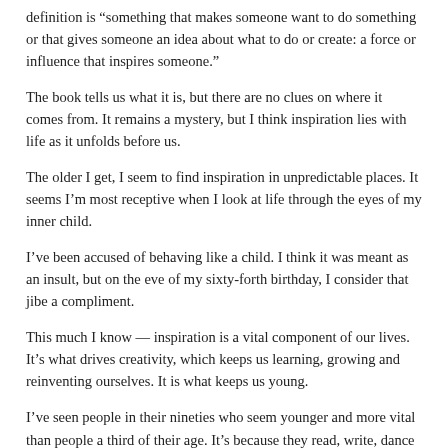definition is “something that makes someone want to do something or that gives someone an idea about what to do or create: a force or influence that inspires someone.”
The book tells us what it is, but there are no clues on where it comes from. It remains a mystery, but I think inspiration lies with life as it unfolds before us.
The older I get, I seem to find inspiration in unpredictable places. It seems I’m most receptive when I look at life through the eyes of my inner child.
I’ve been accused of behaving like a child. I think it was meant as an insult, but on the eve of my sixty-forth birthday, I consider that jibe a compliment.
This much I know — inspiration is a vital component of our lives. It’s what drives creativity, which keeps us learning, growing and reinventing ourselves. It is what keeps us young.
I’ve seen people in their nineties who seem younger and more vital than people a third of their age. It’s because they read, write, dance